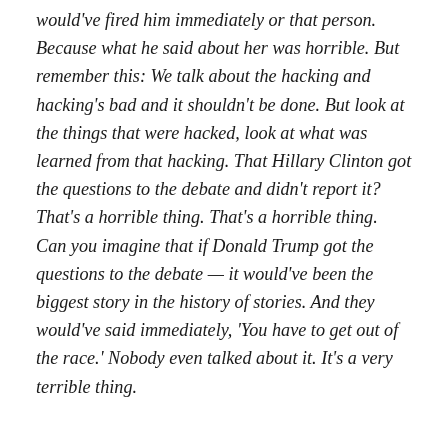would've fired him immediately or that person. Because what he said about her was horrible. But remember this: We talk about the hacking and hacking's bad and it shouldn't be done. But look at the things that were hacked, look at what was learned from that hacking. That Hillary Clinton got the questions to the debate and didn't report it? That's a horrible thing. That's a horrible thing. Can you imagine that if Donald Trump got the questions to the debate — it would've been the biggest story in the history of stories. And they would've said immediately, 'You have to get out of the race.' Nobody even talked about it. It's a very terrible thing.